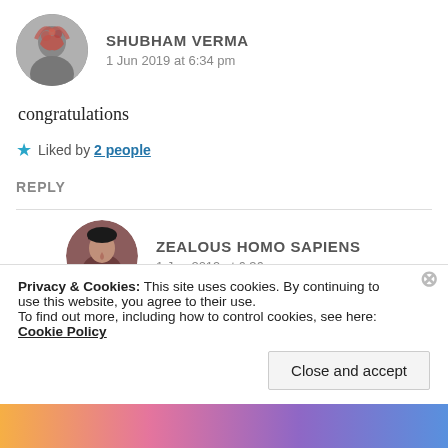[Figure (photo): Circular avatar photo of Shubham Verma, black and white image of man with red flower covering face]
SHUBHAM VERMA
1 Jun 2019 at 6:34 pm
congratulations
★ Liked by 2 people
REPLY
[Figure (photo): Circular avatar photo of Zealous Homo Sapiens, woman with dark hair]
ZEALOUS HOMO SAPIENS
1 Jun 2019 at 6:36 pm
Privacy & Cookies: This site uses cookies. By continuing to use this website, you agree to their use.
To find out more, including how to control cookies, see here: Cookie Policy
Close and accept